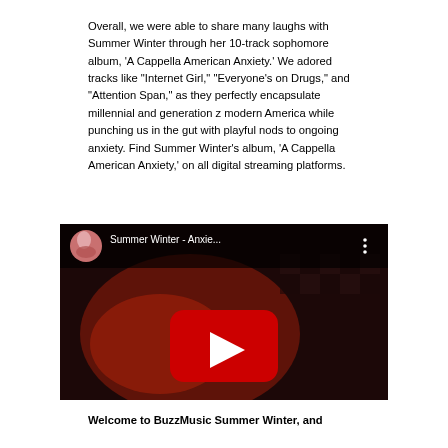Overall, we were able to share many laughs with Summer Winter through her 10-track sophomore album, 'A Cappella American Anxiety.' We adored tracks like "Internet Girl," "Everyone's on Drugs," and "Attention Span," as they perfectly encapsulate millennial and generation z modern America while punching us in the gut with playful nods to ongoing anxiety. Find Summer Winter's album, 'A Cappella American Anxiety,' on all digital streaming platforms.
[Figure (screenshot): YouTube video embed showing Summer Winter - Anxie... with play button, dark background with red-tinted performance imagery]
Welcome to BuzzMusic Summer Winter, and